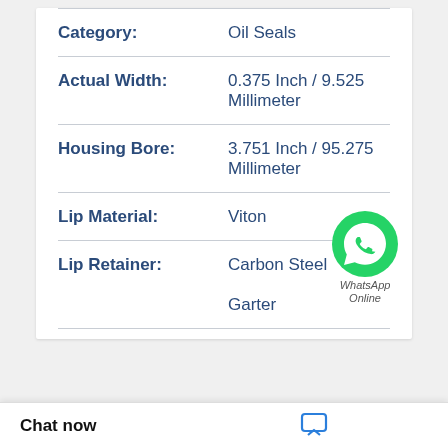| Property | Value |
| --- | --- |
| Category: | Oil Seals |
| Actual Width: | 0.375 Inch / 9.525 Millimeter |
| Housing Bore: | 3.751 Inch / 95.275 Millimeter |
| Lip Material: | Viton |
| Lip Retainer: | Carbon Steel Garter |
VC 20 40 7 NBR NOK AG1029-EO OIL SEALS
Chat now